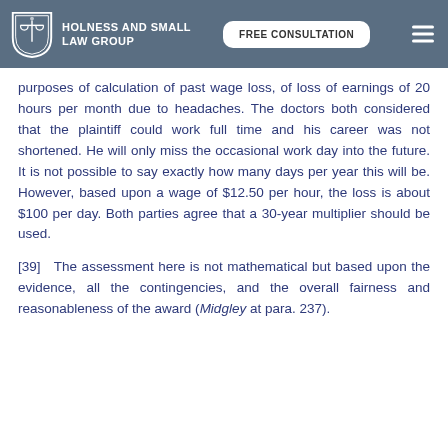HOLNESS AND SMALL LAW GROUP | FREE CONSULTATION
purposes of calculation of past wage loss, of loss of earnings of 20 hours per month due to headaches. The doctors both considered that the plaintiff could work full time and his career was not shortened. He will only miss the occasional work day into the future. It is not possible to say exactly how many days per year this will be. However, based upon a wage of $12.50 per hour, the loss is about $100 per day. Both parties agree that a 30-year multiplier should be used.
[39]   The assessment here is not mathematical but based upon the evidence, all the contingencies, and the overall fairness and reasonableness of the award (Midgley at para. 237).